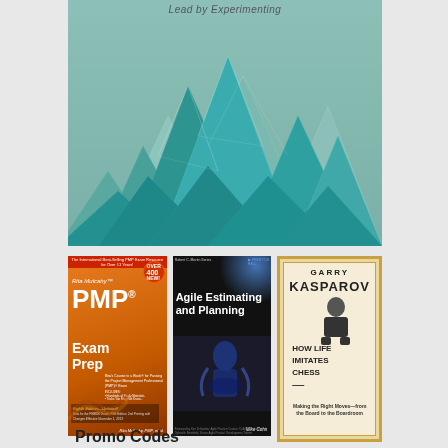[Figure (illustration): Top portion of a book cover showing low-poly geometric mountain peaks in teal/cyan tones on a muted green background, with the text 'Lead by Experimenting' at the top]
[Figure (photo): Book cover: Rita Mulcahy's PMP Exam Prep, Eighth Edition – Updated, orange and red gradient background]
[Figure (photo): Book cover: Agile Estimating and Planning by Mike Cohn, Robert C. Martin Series, black cover with blue glare]
[Figure (photo): Book cover: Garry Kasparov – How Life Imitates Chess: Making the Right Moves—from the Board to the Boardroom, cream/gold bordered cover]
Promo Codes